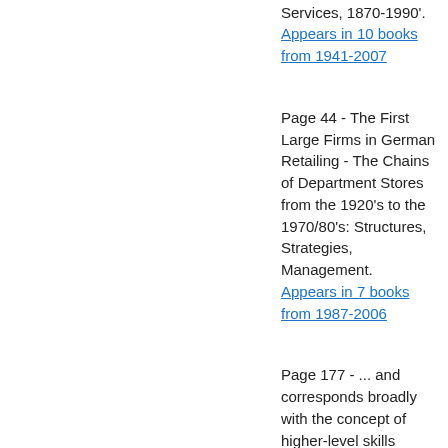American Productivity Differences in Services, 1870-1990'. Appears in 10 books from 1941-2007
Page 44 - The First Large Firms in German Retailing - The Chains of Department Stores from the 1920's to the 1970/80's: Structures, Strategies, Management. Appears in 7 books from 1987-2006
Page 177 - ... and corresponds broadly with the concept of higher-level skills employed here, requiring a qualification at the standard of a university